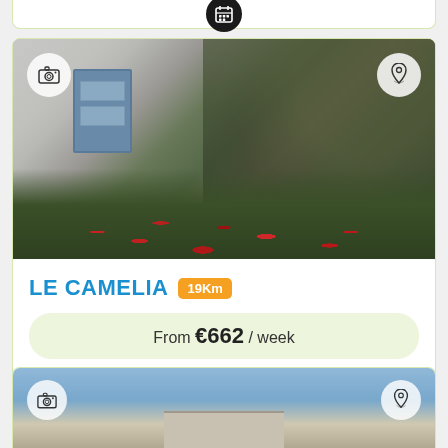[Figure (photo): Top partial card with calendar/booking icon visible at bottom of previous listing]
[Figure (photo): Property photo of Le Camelia showing a house exterior with a blue door, red flowers, and green foliage. Camera icon top-left, location pin icon top-right.]
LE CAMELIA  19Km
From €662 / week
Book Now
[Figure (photo): Bottom partial card showing top of another property listing with blue sky and building, camera icon top-left, location pin top-right.]